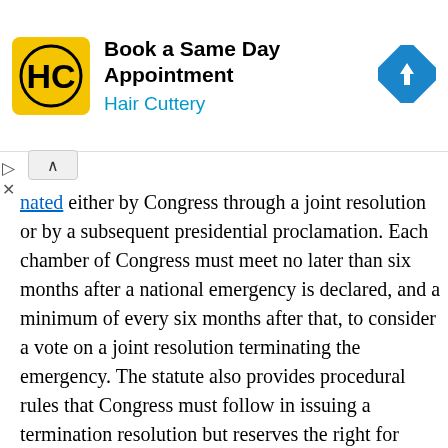[Figure (other): Hair Cuttery advertisement banner with logo, text 'Book a Same Day Appointment', 'Hair Cuttery', and a navigation arrow icon]
nated either by Congress through a joint resolution or by a subsequent presidential proclamation. Each chamber of Congress must meet no later than six months after a national emergency is declared, and a minimum of every six months after that, to consider a vote on a joint resolution terminating the emergency. The statute also provides procedural rules that Congress must follow in issuing a termination resolution but reserves the right for each chamber to change the rules. The president may veto a joint resolution, requiring a two-thirds override. A national emergency terminates automatically on the annual anniversary of the original declaration unless the president transmits a notice to Congress within the 90-day period prior to this date and publishes it in the